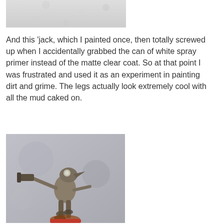[Figure (photo): Partial view of a white/light grey spray-primed surface, top portion of a miniature figure photo]
And this 'jack, which I painted once, then totally screwed up when I accidentally grabbed the can of white spray primer instead of the matte clear coat. So at that point I was frustrated and used it as an experiment in painting dirt and grime. The legs actually look extremely cool with all the mud caked on.
[Figure (photo): A painted miniature wargaming figure ('jack) shown with dirt and grime effects, mud-caked legs visible, set against a grey background]